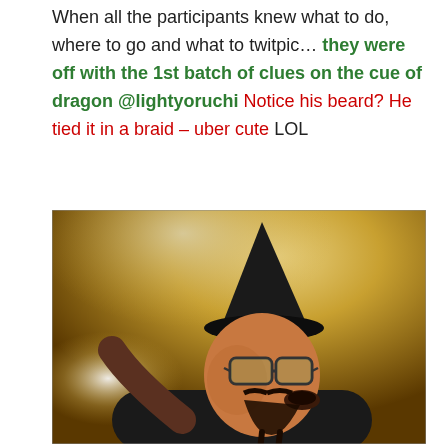When all the participants knew what to do, where to go and what to twitpic… they were off with the 1st batch of clues on the cue of dragon @lightyoruchi Notice his beard? He tied it in a braid – uber cute LOL
[Figure (photo): A man wearing a black pointed hat and glasses, with a braided beard, looking upward. He is wearing a black sleeveless shirt. The background has a warm golden/yellow tone with a bright light source. The photo has a dramatic, low-angle perspective.]